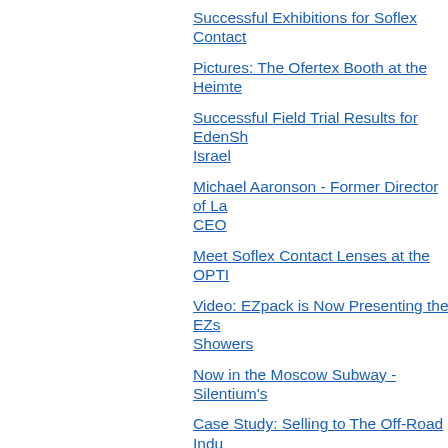Successful Exhibitions for Soflex Contact
Pictures: The Ofertex Booth at the Heimte
Successful Field Trial Results for EdenSh Israel
Michael Aaronson - Former Director of La CEO
Meet Soflex Contact Lenses at the OPTI
Video: EZpack is Now Presenting the EZs Showers
Now in the Moscow Subway - Silentium's
Case Study: Selling to The Off-Road Indu
Innovation in Crop Protection
Netafim's Former Director for Asia Joins S
Soflex at the HKTDC Hong Kong Optical
Pictures: EZpack Water's Innovative Tran
Ofertex Will Be Exhibiting at the Followi